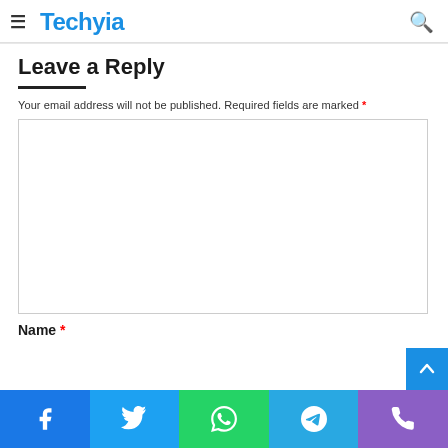Techyia
Leave a Reply
Your email address will not be published. Required fields are marked *
[Figure (screenshot): Comment text area input box (empty)]
Name *
Social share buttons: Facebook, Twitter, WhatsApp, Telegram, Phone